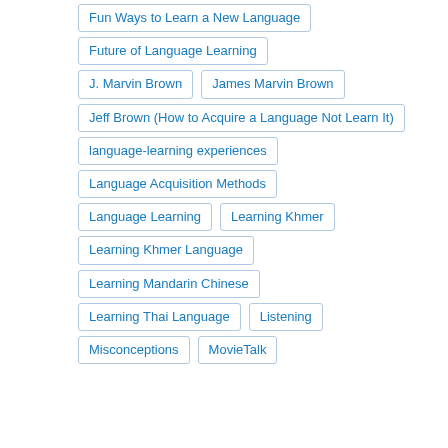Fun Ways to Learn a New Language
Future of Language Learning
J. Marvin Brown
James Marvin Brown
Jeff Brown (How to Acquire a Language Not Learn It)
language-learning experiences
Language Acquisition Methods
Language Learning
Learning Khmer
Learning Khmer Language
Learning Mandarin Chinese
Learning Thai Language
Listening
Misconceptions
MovieTalk